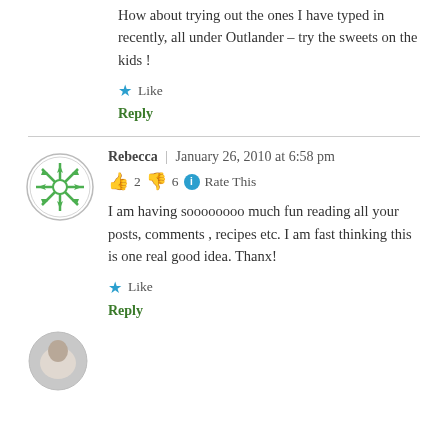How about trying out the ones I have typed in recently, all under Outlander – try the sweets on the kids !
Like
Reply
Rebecca | January 26, 2010 at 6:58 pm
👍 2 👎 6 ℹ Rate This
I am having soooooooo much fun reading all your posts, comments , recipes etc. I am fast thinking this is one real good idea. Thanx!
Like
Reply